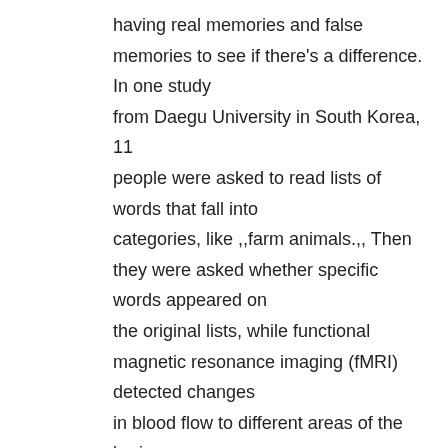having real memories and false memories to see if there's a difference. In one study from Daegu University in South Korea, 11 people were asked to read lists of words that fall into categories, like ,,farm animals.,, Then they were asked whether specific words appeared on the original lists, while functional magnetic resonance imaging (fMRI) detected changes in blood flow to different areas of the brain. When study participants had confidence in their answers and were correct, blood flow increased to the hippocampus – the region of the brain that is important for memory. If they were confident in their answer but were wrong, which happened about 20% of the time, the frontoparietal region lit up – the area associated with